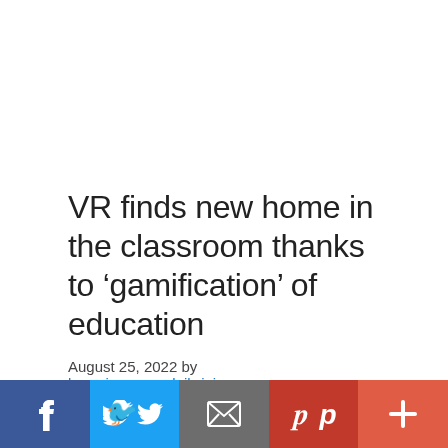VR finds new home in the classroom thanks to ‘gamification’ of education
August 25, 2022 by koreajoongangdaily.joins.com
Kim Jin-ah, country director of Facebook Korea, speaks during a press event held at Josun Palace in
[Figure (infographic): Social media sharing bar with Facebook, Twitter, email, Pinterest, and plus buttons]